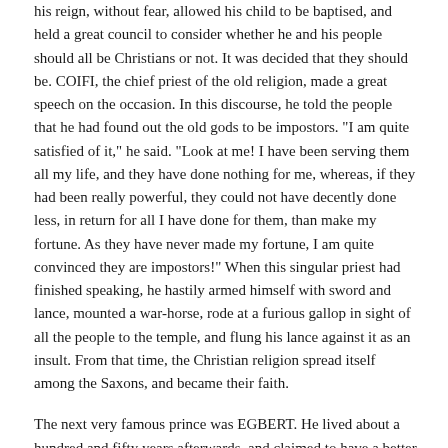his reign, without fear, allowed his child to be baptised, and held a great council to consider whether he and his people should all be Christians or not. It was decided that they should be. COIFI, the chief priest of the old religion, made a great speech on the occasion. In this discourse, he told the people that he had found out the old gods to be impostors. "I am quite satisfied of it," he said. "Look at me! I have been serving them all my life, and they have done nothing for me, whereas, if they had been really powerful, they could not have decently done less, in return for all I have done for them, than make my fortune. As they have never made my fortune, I am quite convinced they are impostors!" When this singular priest had finished speaking, he hastily armed himself with sword and lance, mounted a war-horse, rode at a furious gallop in sight of all the people to the temple, and flung his lance against it as an insult. From that time, the Christian religion spread itself among the Saxons, and became their faith.
The next very famous prince was EGBERT. He lived about a hundred and fifty years afterwards, and claimed to have a better right to the throne of Wessex than BEORTRIC, another Saxon prince who was at the head of that kingdom, and who married EDBURGA, the daughter of OFFA, king of another of the seven kingdoms. This QUEEN EDBURGA was a handsome murderess, who poisoned people when they offended her. One day, she mixed a cup of poison for a certain noble belonging to the court; but her husband drank of it too, by mistake, and died. Upon this, the people revolted, in great crowds; and running to the palace, and thundering at the gates, cried, "Down with the wicked queen, who poisons men!" They drove her out